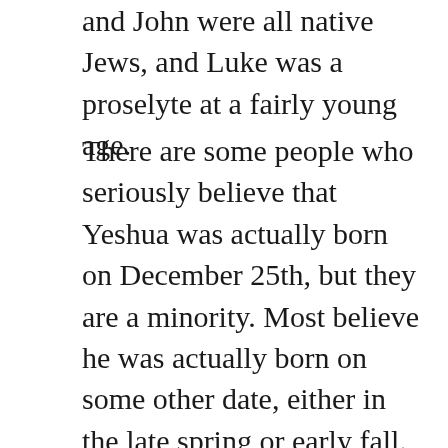and John were all native Jews, and Luke was a proselyte at a fairly young age.
There are some people who seriously believe that Yeshua was actually born on December 25th, but they are a minority. Most believe he was actually born on some other date, either in the late spring or early fall. Competing modern traditions point to the pagan holidays of Saturnalia and the many other winter solstice celebrations to explain how December 25th earned the title.
One tradition says that most of the cultures encompassed by the Roman Empire had some kind of winter solstice celebration, which generally fell very close to December 25th. That tradition is undoubtedly correct on that point, but it goes further. It says that Roman Christians didn't want to appear to Jewish, so instead of celebrating a new holiday at a different time